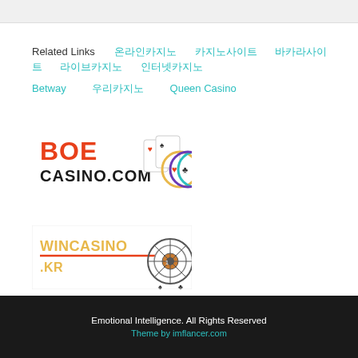Related Links
온라인카지노
카지노사이트
바카라사이트
라이브카지노
인터넷카지노
Betway
우리카지노
Queen Casino
[Figure (logo): BOE Casino.com logo with playing cards and poker chips]
[Figure (logo): WinCasino.KR logo with roulette wheel]
Emotional Intelligence. All Rights Reserved
Theme by imflancer.com